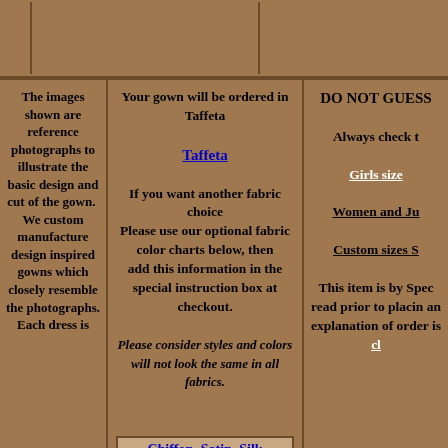Your gown will be ordered in Taffeta
Taffeta
If you want another fabric choice
Please use our optional fabric color charts below, then
add this information in the special instruction box at checkout.
Please consider styles and colors will not look the same in all fabrics.
Chiffon | Satin | Silk | Taffeta
The images shown are reference photographs to illustrate the basic design and cut of the gown. We custom manufacture design inspired gowns which closely resemble the photographs. Each dress is
DO NOT GUESS
Always check t
Girls size
Women and Ju
Custom sizes S
This item is by Spec read prior to placin an explanation of order is cl